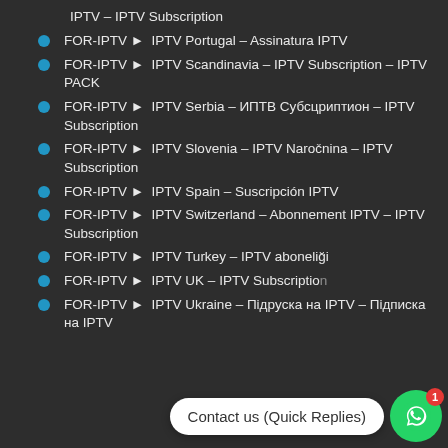IPTV – IPTV Subscription
FOR-IPTV ► IPTV Portugal – Assinatura IPTV
FOR-IPTV ► IPTV Scandinavia – IPTV Subscription – IPTV PACK
FOR-IPTV ► IPTV Serbia – ИПТВ Субсцриптион – IPTV Subscription
FOR-IPTV ► IPTV Slovenia – IPTV Naročnina – IPTV Subscription
FOR-IPTV ► IPTV Spain – Suscripción IPTV
FOR-IPTV ► IPTV Switzerland – Abonnement IPTV – IPTV Subscription
FOR-IPTV ► IPTV Turkey – IPTV aboneliği
FOR-IPTV ► IPTV UK – IPTV Subscription
FOR-IPTV ► IPTV Ukraine – Підрyска на IPTV – Підписка на IPTV